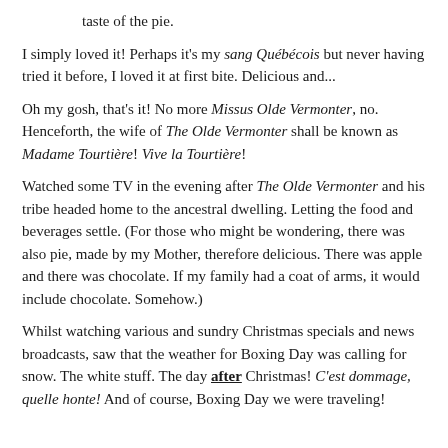taste of the pie.
I simply loved it! Perhaps it's my sang Québécois but never having tried it before, I loved it at first bite. Delicious and...
Oh my gosh, that's it! No more Missus Olde Vermonter, no. Henceforth, the wife of The Olde Vermonter shall be known as Madame Tourtière! Vive la Tourtière!
Watched some TV in the evening after The Olde Vermonter and his tribe headed home to the ancestral dwelling. Letting the food and beverages settle. (For those who might be wondering, there was also pie, made by my Mother, therefore delicious. There was apple and there was chocolate. If my family had a coat of arms, it would include chocolate. Somehow.)
Whilst watching various and sundry Christmas specials and news broadcasts, saw that the weather for Boxing Day was calling for snow. The white stuff. The day after Christmas! C'est dommage, quelle honte! And of course, Boxing Day we were traveling!